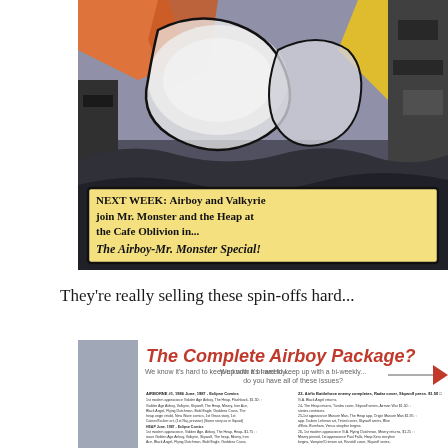[Figure (illustration): A scanned comic book panel showing dynamic action art with characters in motion. At the bottom of the panel is a yellow text box with the text: 'NEXT WEEK: Airboy and Valkyrie join Mr. Monster and the Heap at the Cafe Oblivion in... The Airboy-Mr. Monster Special!']
They're really selling these spin-offs hard...
[Figure (photo): A scanned advertisement page titled 'The Complete Airboy Package?' with subtitle 'We know it's hard to keep up with a bi-weekly... do you have all of these issues?' followed by a detailed numbered checklist of Airboy comic issues with descriptions and prices.]